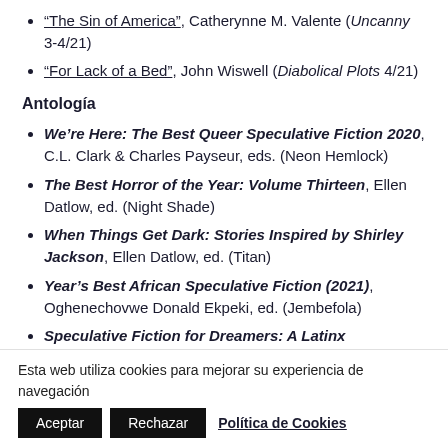“The Sin of America”, Catherynne M. Valente (Uncanny 3-4/21)
“For Lack of a Bed”, John Wiswell (Diabolical Plots 4/21)
Antología
We’re Here: The Best Queer Speculative Fiction 2020, C.L. Clark & Charles Payseur, eds. (Neon Hemlock)
The Best Horror of the Year: Volume Thirteen, Ellen Datlow, ed. (Night Shade)
When Things Get Dark: Stories Inspired by Shirley Jackson, Ellen Datlow, ed. (Titan)
Year’s Best African Speculative Fiction (2021), Oghenechovwe Donald Ekpeki, ed. (Jembefola)
Speculative Fiction for Dreamers: A Latinx
Esta web utiliza cookies para mejorar su experiencia de navegación
Aceptar   Rechazar   Política de Cookies